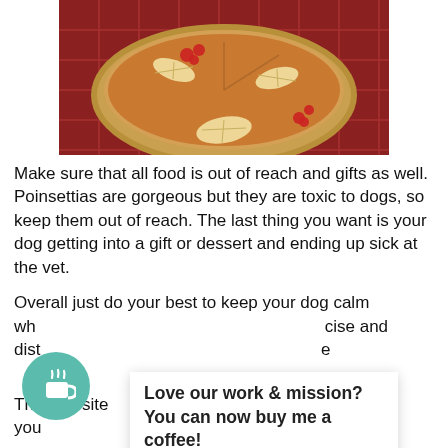[Figure (photo): Photo of a pumpkin pie with leaf-shaped pastry decorations and red berry garnishes on a red checkered tablecloth]
Make sure that all food is out of reach and gifts as well. Poinsettias are gorgeous but they are toxic to dogs, so keep them out of reach. The last thing you want is your dog getting into a gift or dessert and ending up sick at the vet.
Overall just do your best to keep your dog calm wh... cise and dist... e
This website... nce. We'll you... you wish.
Love our work & mission?
You can now buy me a coffee!